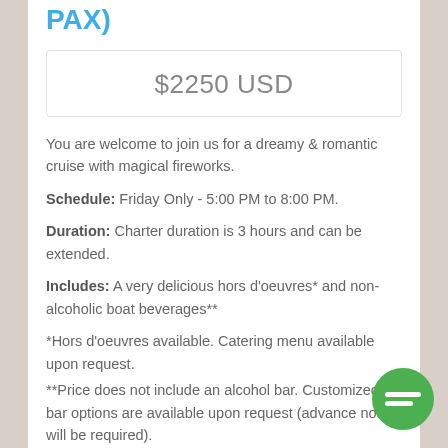PAX)
$2250 USD
You are welcome to join us for a dreamy & romantic cruise with magical fireworks.
Schedule: Friday Only - 5:00 PM to 8:00 PM.
Duration: Charter duration is 3 hours and can be extended.
Includes: A very delicious hors d'oeuvres* and non-alcoholic boat beverages**
*Hors d'oeuvres available. Catering menu available upon request.
**Price does not include an alcohol bar. Customized bar options are available upon request (advance notice will be required).